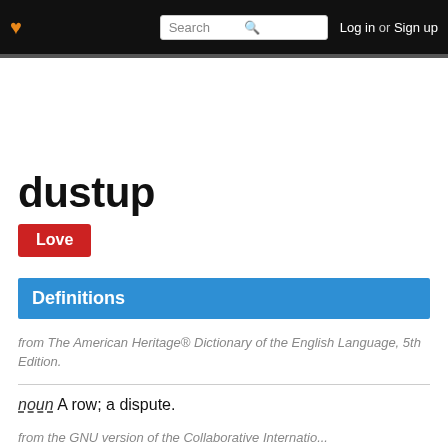♥ [Search] Log in or Sign up
dustup
Love
Definitions
from The American Heritage® Dictionary of the English Language, 5th Edition.
noun A row; a dispute.
from the GNU version of the Collaborative International...